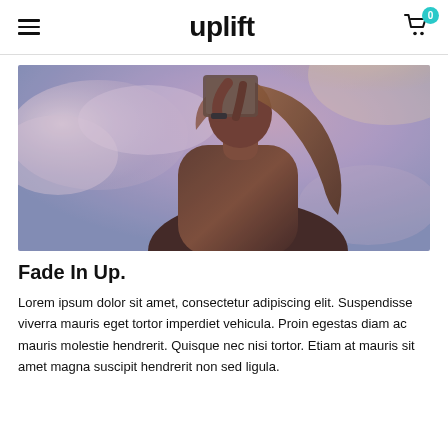uplift
[Figure (photo): A woman holding a book up to her face against a sky with clouds, warm sunlight, brownish-purple tones.]
Fade In Up.
Lorem ipsum dolor sit amet, consectetur adipiscing elit. Suspendisse viverra mauris eget tortor imperdiet vehicula. Proin egestas diam ac mauris molestie hendrerit. Quisque nec nisi tortor. Etiam at mauris sit amet magna suscipit hendrerit non sed ligula.